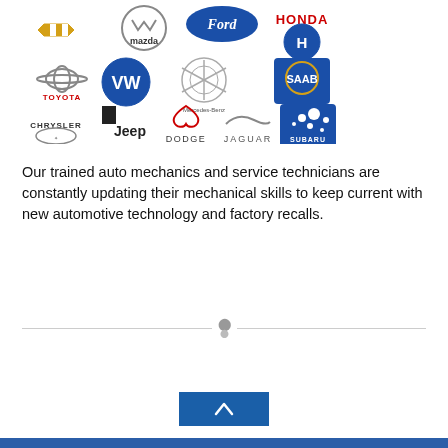[Figure (logo): Collection of car brand logos: Chevrolet, Mazda, Ford, Honda, Toyota, Volkswagen, Mercedes-Benz, Saab, Chrysler, Jeep, Dodge, Jaguar, Subaru]
Our trained auto mechanics and service technicians are constantly updating their mechanical skills to keep current with new automotive technology and factory recalls.